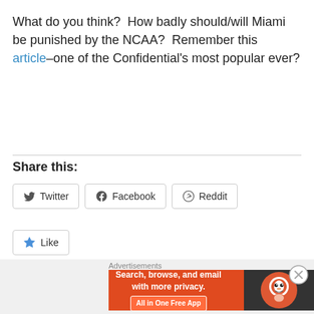What do you think?  How badly should/will Miami be punished by the NCAA?  Remember this article–one of the Confidential's most popular ever?
Share this:
Twitter  Facebook  Reddit
Like  Be the first to like this.
Related
Advertisements  Search, browse, and email with more privacy.  All in One Free App  DuckDuckGo